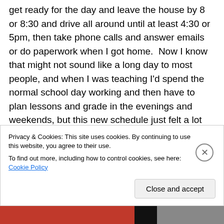get ready for the day and leave the house by 8 or 8:30 and drive all around until at least 4:30 or 5pm, then take phone calls and answer emails or do paperwork when I got home.  Now I know that might not sound like a long day to most people, and when I was teaching I'd spend the normal school day working and then have to plan lessons and grade in the evenings and weekends, but this new schedule just felt a lot longer to me. Probably because I wasn't doing what I loved like I did when I was teaching.  One the nights we held professional development, which
Privacy & Cookies: This site uses cookies. By continuing to use this website, you agree to their use.
To find out more, including how to control cookies, see here: Cookie Policy
Close and accept